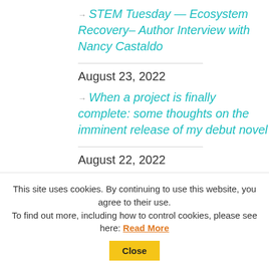→ STEM Tuesday — Ecosystem Recovery– Author Interview with Nancy Castaldo
August 23, 2022
→ When a project is finally complete: some thoughts on the imminent release of my debut novel
August 22, 2022
→ How To Write Chapter Books with 8 Chapter Book Authors
This site uses cookies. By continuing to use this website, you agree to their use.
To find out more, including how to control cookies, please see here: Read More  Close